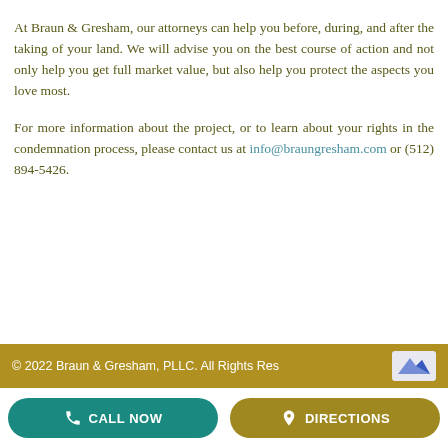At Braun & Gresham, our attorneys can help you before, during, and after the taking of your land. We will advise you on the best course of action and not only help you get full market value, but also help you protect the aspects you love most.
For more information about the project, or to learn about your rights in the condemnation process, please contact us at info@braungresham.com or (512) 894-5426.
© 2022 Braun & Gresham, PLLC. All Rights Reserved.